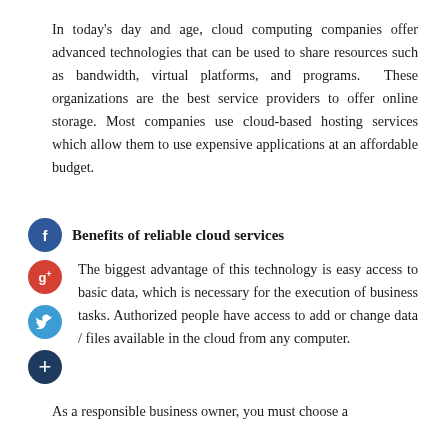In today's day and age, cloud computing companies offer advanced technologies that can be used to share resources such as bandwidth, virtual platforms, and programs. These organizations are the best service providers to offer online storage. Most companies use cloud-based hosting services which allow them to use expensive applications at an affordable budget.
Benefits of reliable cloud services
The biggest advantage of this technology is easy access to basic data, which is necessary for the execution of business tasks. Authorized people have access to add or change data / files available in the cloud from any computer.
As a responsible business owner, you must choose a